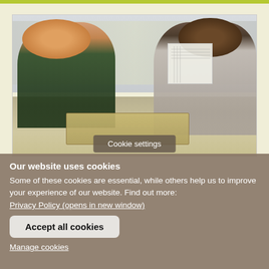[Figure (photo): Two people sitting at a table in what appears to be a laboratory or office setting, smiling. One person on the left has reddish-blond hair and glasses, resting their chin on their hand. The person on the right is holding up a sheet of paper with a grid/checklist. There are specimen boxes with insects on the table.]
Cookie settings
Our website uses cookies
Some of these cookies are essential, while others help us to improve your experience of our website. Find out more:
Privacy Policy (opens in new window)
Accept all cookies
Manage cookies